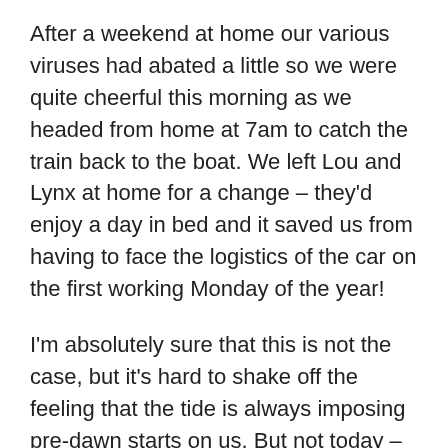After a weekend at home our various viruses had abated a little so we were quite cheerful this morning as we headed from home at 7am to catch the train back to the boat. We left Lou and Lynx at home for a change – they'd enjoy a day in bed and it saved us from having to face the logistics of the car on the first working Monday of the year!
I'm absolutely sure that this is not the case, but it's hard to shake off the feeling that the tide is always imposing pre-dawn starts on us. But not today – we were due to leave the Royal Docks at 10am for a leisurely bobble up to the lock before entering the Thames at 11am-ish. We were due to go up Bow Creek with the rising tide (for a change) so there were no worries about water levels; weather conditions were perfect – the recipe for a fine morning's cruising.